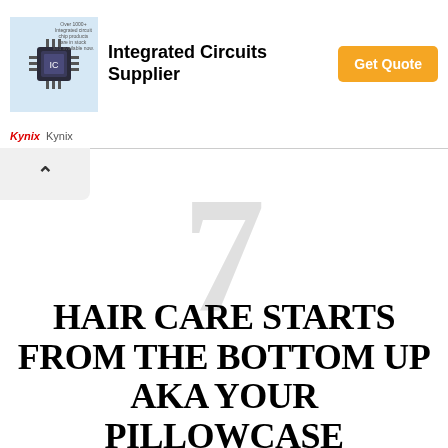[Figure (other): Advertisement banner for Integrated Circuits Supplier (Kynix) with a chip image, bold headline, and orange Get Quote button]
7
HAIR CARE STARTS FROM THE BOTTOM UP AKA YOUR PILLOWCASE